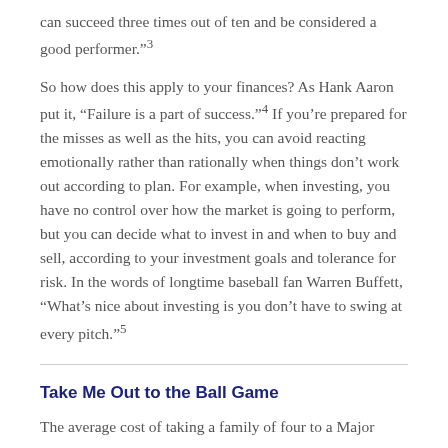can succeed three times out of ten and be considered a good performer."³
So how does this apply to your finances? As Hank Aaron put it, “Failure is a part of success."⁴ If you’re prepared for the misses as well as the hits, you can avoid reacting emotionally rather than rationally when things don’t work out according to plan. For example, when investing, you have no control over how the market is going to perform, but you can decide what to invest in and when to buy and sell, according to your investment goals and tolerance for risk. In the words of longtime baseball fan Warren Buffett, “What’s nice about investing is you don’t have to swing at every pitch."⁵
Take Me Out to the Ball Game
The average cost of taking a family of four to a Major